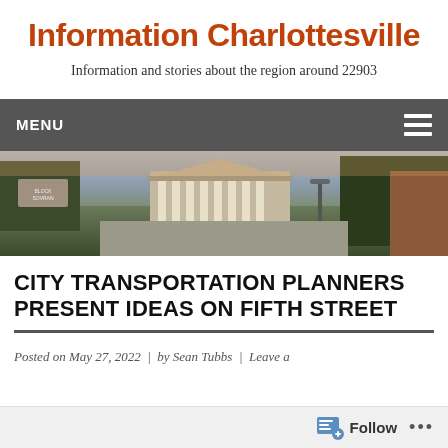Information Charlottesville
Information and stories about the region around 22903
MENU
[Figure (photo): Panoramic photo of a street scene in Charlottesville with a classical-style building with white columns in the background, trees, a street lamp, and brick architecture on the right side.]
CITY TRANSPORTATION PLANNERS PRESENT IDEAS ON FIFTH STREET
Posted on May 27, 2022  |  by Sean Tubbs  |  Leave a